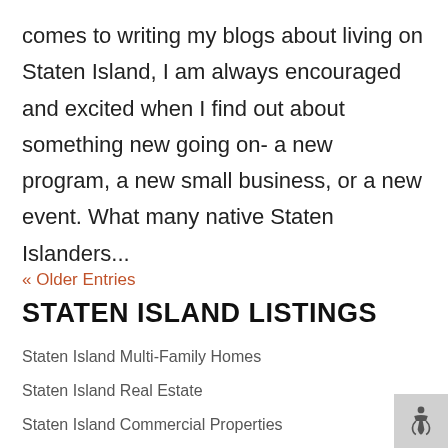comes to writing my blogs about living on Staten Island, I am always encouraged and excited when I find out about something new going on- a new program, a new small business, or a new event. What many native Staten Islanders...
« Older Entries
STATEN ISLAND LISTINGS
Staten Island Multi-Family Homes
Staten Island Real Estate
Staten Island Commercial Properties
Staten Island Homes Near The Verrazano Bridge